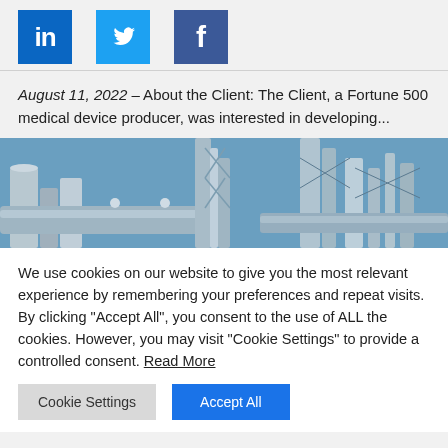[Figure (logo): Three social media icons: LinkedIn (blue square with 'in'), Twitter (blue square with bird), Facebook (blue square with 'f')]
August 11, 2022 – About the Client: The Client, a Fortune 500 medical device producer, was interested in developing...
[Figure (photo): Industrial facility with metal pipes, tanks, and steel structures against a blue sky]
We use cookies on our website to give you the most relevant experience by remembering your preferences and repeat visits. By clicking "Accept All", you consent to the use of ALL the cookies. However, you may visit "Cookie Settings" to provide a controlled consent. Read More
Cookie Settings | Accept All